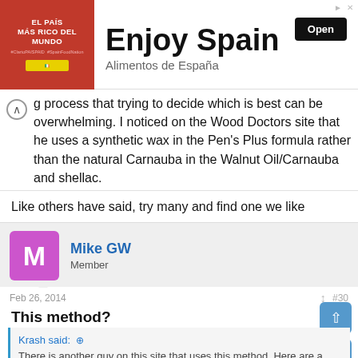[Figure (screenshot): Advertisement banner for Alimentos de España / Enjoy Spain with red left panel showing El País Más Rico del Mundo text and right panel with Enjoy Spain headline and Open button]
g process that trying to decide which is best can be overwhelming. I noticed on the Wood Doctors site that he uses a synthetic wax in the Pen's Plus formula rather than the natural Carnauba in the Walnut Oil/Carnauba and shellac.
Like others have said, try many and find one we like
Mike GW
Member
Feb 26, 2014
#30
This method?
Krash said:
There is another guy on this site that uses this method. Here are a